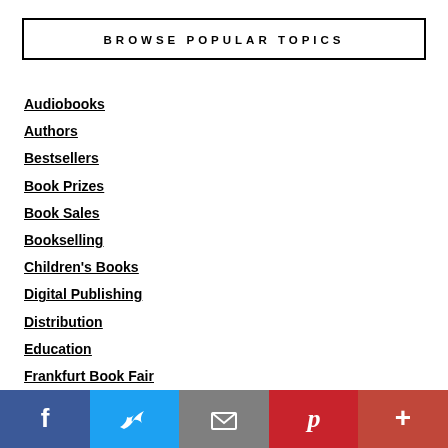BROWSE POPULAR TOPICS
Audiobooks
Authors
Bestsellers
Book Prizes
Book Sales
Bookselling
Children's Books
Digital Publishing
Distribution
Education
Frankfurt Book Fair
Literature
London Book Fair
f  Twitter  Email  Pinterest  More